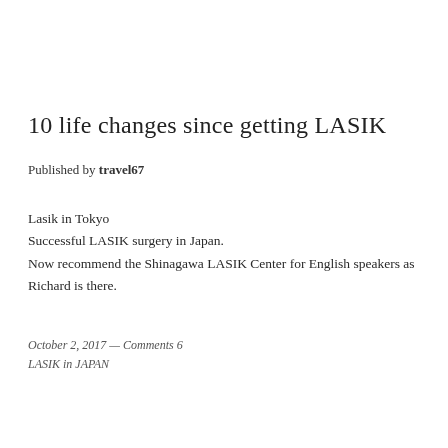10 life changes since getting LASIK
Published by travel67
Lasik in Tokyo
Successful LASIK surgery in Japan.
Now recommend the Shinagawa LASIK Center for English speakers as Richard is there.
October 2, 2017 — Comments 6
LASIK in JAPAN